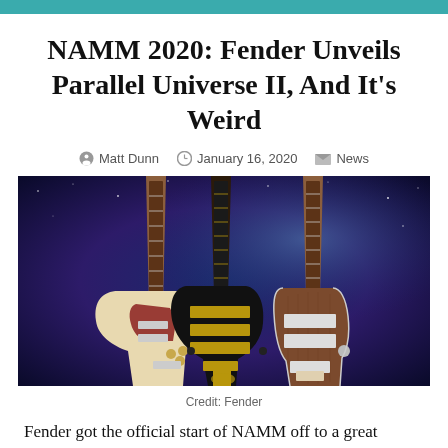NAMM 2020: Fender Unveils Parallel Universe II, And It's Weird
Matt Dunn  January 16, 2020  News
[Figure (photo): Three Fender electric guitars displayed against a dark blue galaxy/space background. Left: a cream/white guitar with tortoiseshell pickguard. Center: a black guitar with gold hardware. Right: a brown/walnut guitar with rectangular body.]
Credit: Fender
Fender got the official start of NAMM off to a great